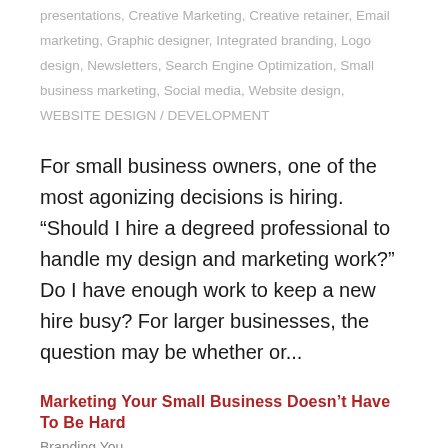presentations, Creative Marketing, Creative retainer, Email marketing, Graphic designer, Integrated branding, Logo design, Newsletters, Search Engine Optimization, Small business marketing, Social media, Website design, WEBSITE DESIGN / DEVELOPMENT
For small business owners, one of the most agonizing decisions is hiring. “Should I hire a degreed professional to handle my design and marketing work?” Do I have enough work to keep a new hire busy? For larger businesses, the question may be whether or...
Marketing Your Small Business Doesn’t Have To Be Hard
Branding You